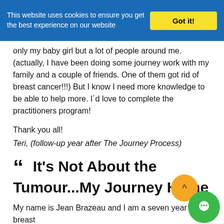This website uses cookies to ensure you get the best experience on our website
only my baby girl but a lot of people around me. (actually, I have been doing some journey work with my family and a couple of friends. One of them got rid of breast cancer!!!) But I know I need more knowledge to be able to help more. I´d love to complete the practitioners program!
Thank you all!
Teri, (follow-up year after The Journey Process)
It's Not About the Tumour...My Journey Home
My name is Jean Brazeau and I am a seven year breast